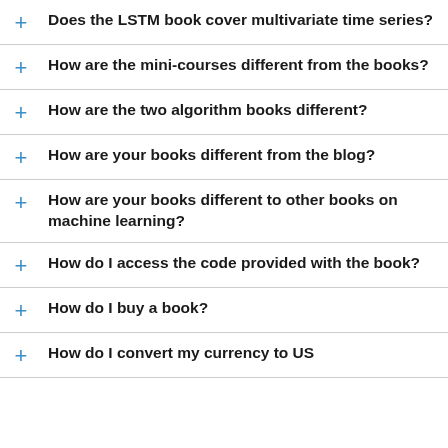Does the LSTM book cover multivariate time series?
How are the mini-courses different from the books?
How are the two algorithm books different?
How are your books different from the blog?
How are your books different to other books on machine learning?
How do I access the code provided with the book?
How do I buy a book?
How do I convert my currency to US